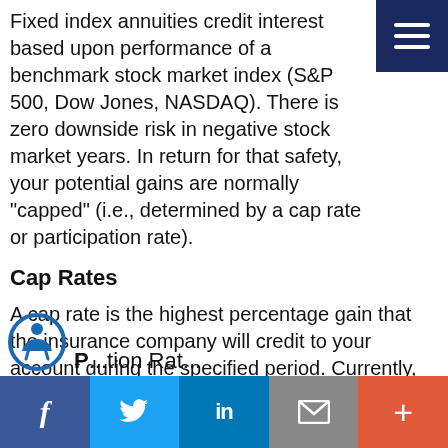Fixed index annuities credit interest based upon performance of a benchmark stock market index (S&P 500, Dow Jones, NASDAQ). There is zero downside risk in negative stock market years. In return for that safety, your potential gains are normally "capped" (i.e., determined by a cap rate or participation rate).
Cap Rates
A cap rate is the highest percentage gain that the insurance company will credit to your account during the specified period. Currently, cap rates range between 3% and9%, depending on the duration of your annuity. This means that if your annuity has a cap rate of 6% and the benchmark S&P stock index goes up 12%, you will be credited with 6% interest.
Participation Rates